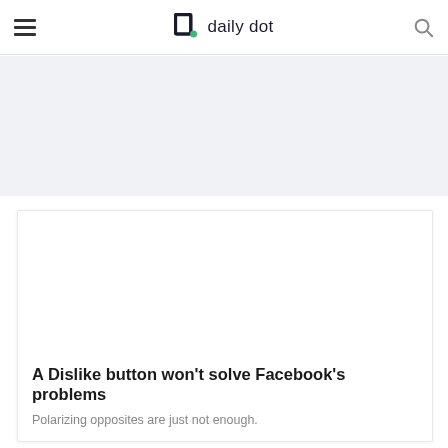daily dot
[Figure (other): Gray advertisement placeholder area]
A Dislike button won't solve Facebook's problems
Polarizing opposites are just not enough.